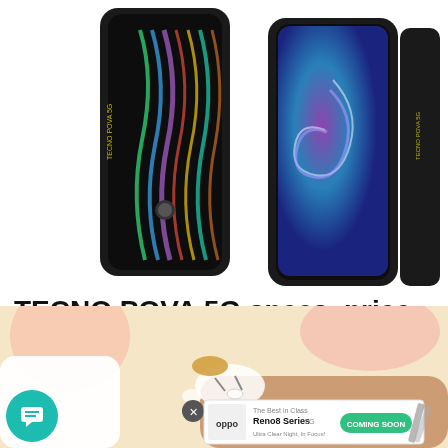[Figure (photo): Product photo of TECNO POVA 5G smartphones showing front and back views against white background. Two phones displayed side by side — one showing the back with striped iridescent design and branding, one showing the front with purple/blue abstract wallpaper. A third partial phone visible at the right edge.]
TECNO POVA 5G specs, price in the Philippines
TECNO has just listed their latest smartphone in the Philippines through their Lazada page, the TECNO ...
Yuga Tech
[Figure (illustration): Cartoon/illustration showing hands exchanging or handling an item, with a beige/cream background. An advertisement banner overlay at the bottom shows OPPO Reno8 Series 5G with 'COMING SOON' badge.]